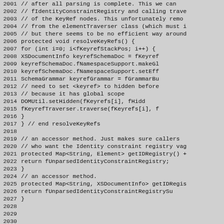[Figure (screenshot): Source code listing in monospace font showing Java code lines 2001–2031, with line numbers on the left. The code shows methods resolveKeyRefs() and accessor methods getIDRegistry() in a grey background.]